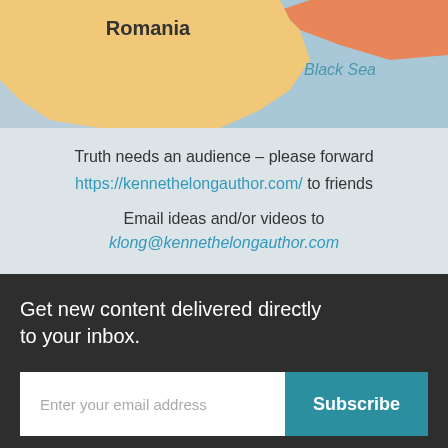[Figure (map): Partial map showing Romania in yellow/orange and the Black Sea in blue, with label 'Romania' and italic label 'Black Sea']
Truth needs an audience – please forward https://kennethelongauthor.com/ to friends
Email ideas and/or videos to klong@kennethelongauthor.com
Get new content delivered directly to your inbox.
Enter your email address  Subscribe